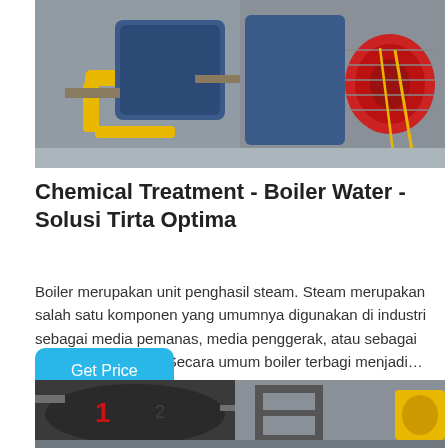[Figure (photo): Industrial boiler equipment photo showing blue boiler body with yellow pipe fittings on left and red burner head on right, in a factory setting.]
Chemical Treatment - Boiler Water - Solusi Tirta Optima
Boiler merupakan unit penghasil steam. Steam merupakan salah satu komponen yang umumnya digunakan di industri sebagai media pemanas, media penggerak, atau sebagai bahan baku proses.Secara umum boiler terbagi menjadi…
Get Price
[Figure (photo): Industrial boiler equipment photo showing large black cylindrical tank with red markings on left, and metal rack/frame structure on right in factory.]